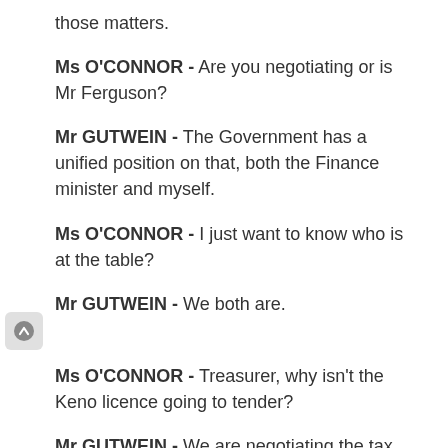those matters.
Ms O'CONNOR - Are you negotiating or is Mr Ferguson?
Mr GUTWEIN - The Government has a unified position on that, both the Finance minister and myself.
Ms O'CONNOR - I just want to know who is at the table?
Mr GUTWEIN - We both are.
Ms O'CONNOR - Treasurer, why isn't the Keno licence going to tender?
Mr GUTWEIN - We are negotiating the tax rates on that at the moment. There are two ways you can look at this. One is that you can take something to market and